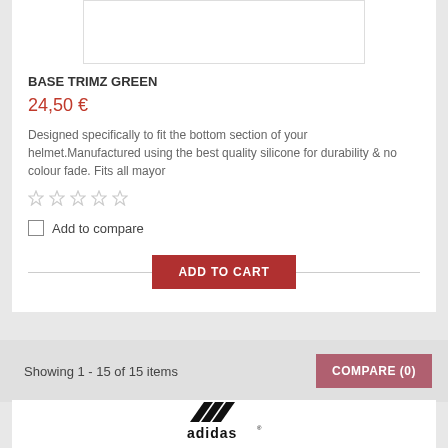[Figure (other): Product image placeholder (white rectangle with border)]
BASE TRIMZ GREEN
24,50 €
Designed specifically to fit the bottom section of your helmet.Manufactured using the best quality silicone for durability & no colour fade. Fits all mayor
[Figure (other): 5 empty star rating icons]
Add to compare
ADD TO CART
Showing 1 - 15 of 15 items
COMPARE (0)
[Figure (logo): Adidas logo with three stripes and adidas wordmark in black, with a red curved arc below]